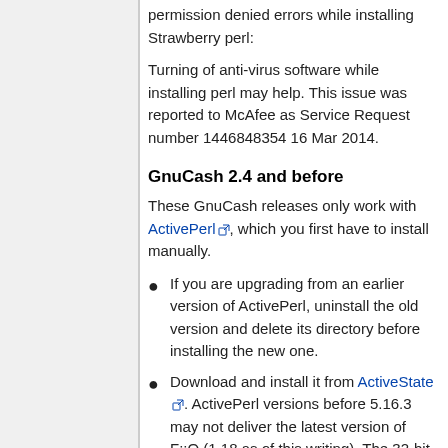permission denied errors while installing Strawberry perl:
Turning of anti-virus software while installing perl may help. This issue was reported to McAfee as Service Request number 1446848354 16 Mar 2014.
GnuCash 2.4 and before
These GnuCash releases only work with ActivePerl, which you first have to install manually.
If you are upgrading from an earlier version of ActivePerl, uninstall the old version and delete its directory before installing the new one.
Download and install it from ActiveState. ActivePerl versions before 5.16.3 may not deliver the latest version of F::Q (1.18 as of this writing). The 32-bit version is